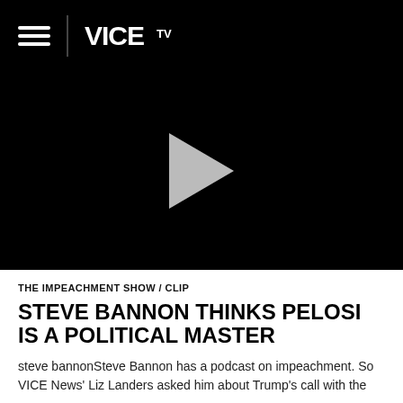[Figure (screenshot): Black video player area with VICE TV navigation bar at top (hamburger menu icon, vertical divider, VICE TV logo in white) and a gray play button triangle in the center of the black video area.]
THE IMPEACHMENT SHOW / CLIP
STEVE BANNON THINKS PELOSI IS A POLITICAL MASTER
steve bannonSteve Bannon has a podcast on impeachment. So VICE News' Liz Landers asked him about Trump's call with the